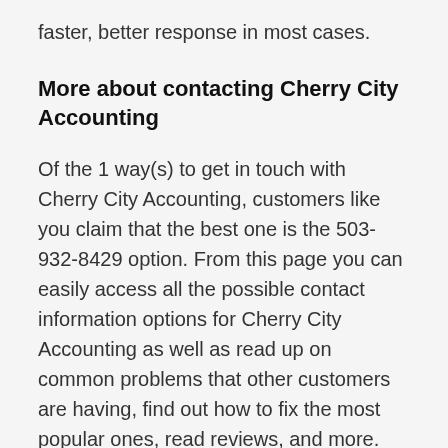faster, better response in most cases.
More about contacting Cherry City Accounting
Of the 1 way(s) to get in touch with Cherry City Accounting, customers like you claim that the best one is the 503-932-8429 option. From this page you can easily access all the possible contact information options for Cherry City Accounting as well as read up on common problems that other customers are having, find out how to fix the most popular ones, read reviews, and more. Know of any other ways to reach Cherry City Accounting? Pretty please let GetHuman know about it. We work hard to bring you as much free information and tooling as we can, and we grow that toolset every day, bringing things like